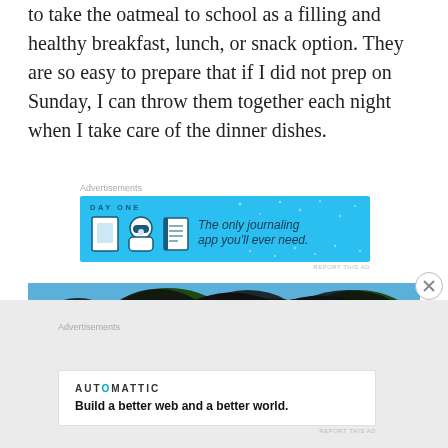to take the oatmeal to school as a filling and healthy breakfast, lunch, or snack option. They are so easy to prepare that if I did not prep on Sunday, I can throw them together each night when I take care of the dinner dishes.
Advertisements
[Figure (photo): Day One journaling app advertisement banner with blue background, app icons, and text 'The only journaling app you'll ever need.']
[Figure (photo): Outdoor nature photo showing tree branches with leaves against a blue sky]
Advertisements
[Figure (other): Automattic advertisement with logo and tagline 'Build a better web and a better world.']